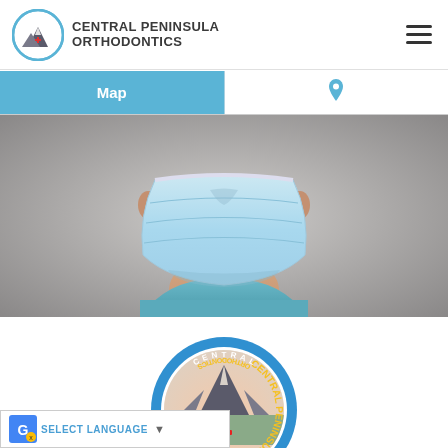[Figure (logo): Central Peninsula Orthodontics circular logo with mountain and cross icon]
CENTRAL PENINSULA ORTHODONTICS
[Figure (infographic): Navigation bar with Map button (blue) and phone icon button (white)]
[Figure (photo): Close-up photo of a person wearing a light blue surgical/medical face mask, wearing blue scrubs, against a gray background]
[Figure (logo): Central Peninsula Orthodontics circular badge logo at bottom center of page]
SELECT LANGUAGE